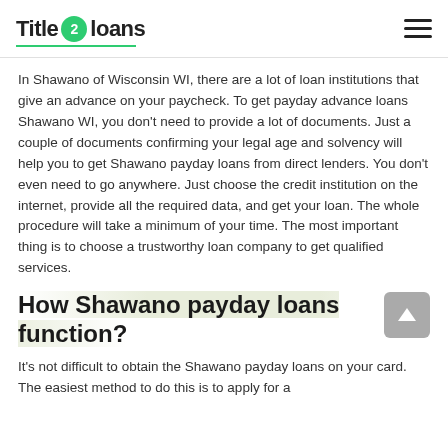Title 2 Loans
In Shawano of Wisconsin WI, there are a lot of loan institutions that give an advance on your paycheck. To get payday advance loans Shawano WI, you don't need to provide a lot of documents. Just a couple of documents confirming your legal age and solvency will help you to get Shawano payday loans from direct lenders. You don't even need to go anywhere. Just choose the credit institution on the internet, provide all the required data, and get your loan. The whole procedure will take a minimum of your time. The most important thing is to choose a trustworthy loan company to get qualified services.
How Shawano payday loans function?
It's not difficult to obtain the Shawano payday loans on your card. The easiest method to do this is to apply for a